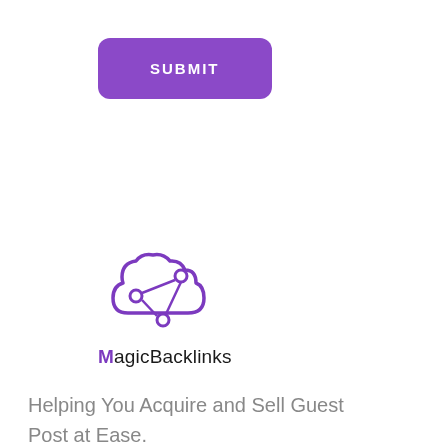[Figure (other): Purple rounded rectangle submit button with white uppercase text 'SUBMIT']
[Figure (logo): MagicBacklinks logo: purple cloud icon with share/network nodes, below it the brand name 'MagicBacklinks' with M in purple]
Helping You Acquire and Sell Guest Post at Ease.